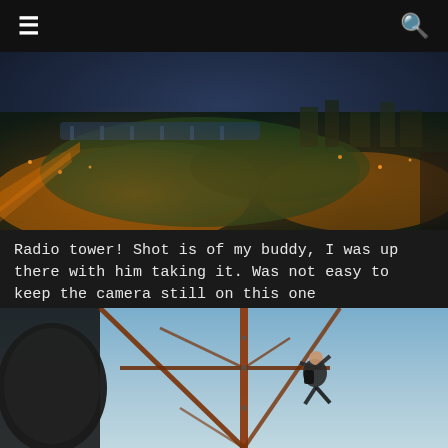≡  🔍
[Figure (photo): Aerial night view of a city from a radio tower, showing illuminated orange streets, green tree canopy, a river with bridges, and city buildings in the background]
Radio tower! Shot is of my buddy, I was up there with him taking it. Was not easy to keep the camera still on this one
[Figure (photo): A person climbing the metal lattice structure of a radio tower at dusk, with blue sky in the background and a large satellite dish visible on the left]